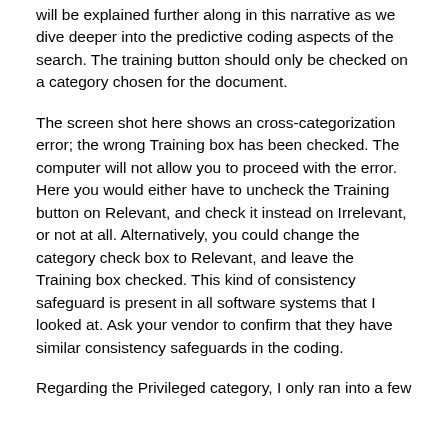will be explained further along in this narrative as we dive deeper into the predictive coding aspects of the search. The training button should only be checked on a category chosen for the document.
The screen shot here shows an cross-categorization error; the wrong Training box has been checked. The computer will not allow you to proceed with the error. Here you would either have to uncheck the Training button on Relevant, and check it instead on Irrelevant, or not at all. Alternatively, you could change the category check box to Relevant, and leave the Training box checked. This kind of consistency safeguard is present in all software systems that I looked at. Ask your vendor to confirm that they have similar consistency safeguards in the coding.
Regarding the Privileged category, I only ran into a few